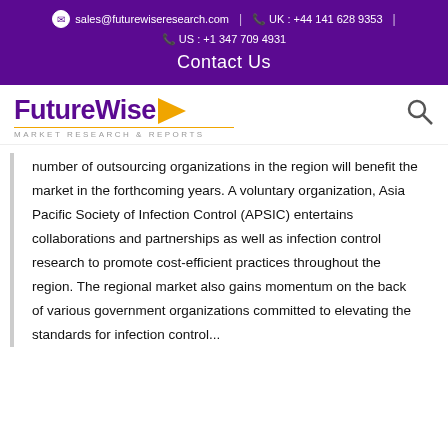sales@futurewiseresearch.com | UK : +44 141 628 9353 | US : +1 347 709 4931 | Contact Us
[Figure (logo): FutureWise Market Research & Reports logo with yellow arrow and search icon]
number of outsourcing organizations in the region will benefit the market in the forthcoming years. A voluntary organization, Asia Pacific Society of Infection Control (APSIC) entertains collaborations and partnerships as well as infection control research to promote cost-efficient practices throughout the region. The regional market also gains momentum on the back of various government organizations committed to elevating the standards for infection control...